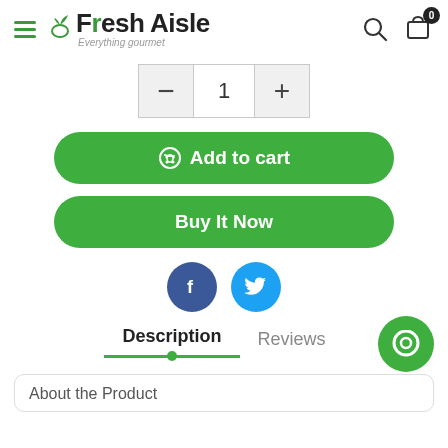Fresh Aisle – Everything gourmet
1
Add to cart
Buy It Now
[Figure (other): Facebook and Twitter social share icons]
Description   Reviews
About the Product